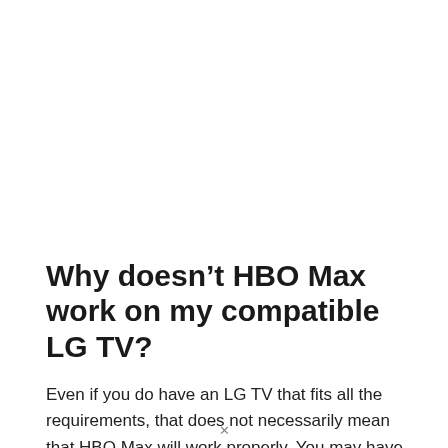Why doesn’t HBO Max work on my compatible LG TV?
Even if you do have an LG TV that fits all the requirements, that does not necessarily mean that HBO Max will work properly. You may have the app